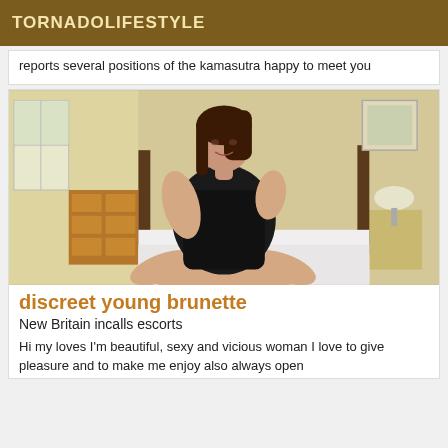TORNADOLIFESTYLE
reports  several positions of the kamasutra happy to meet you
[Figure (photo): Young brunette woman in black swimsuit sitting on a bed in a bedroom setting]
discreet young brunette
New Britain incalls escorts
Hi my loves I'm beautiful, sexy and vicious woman I love to give pleasure and to make me enjoy also always open